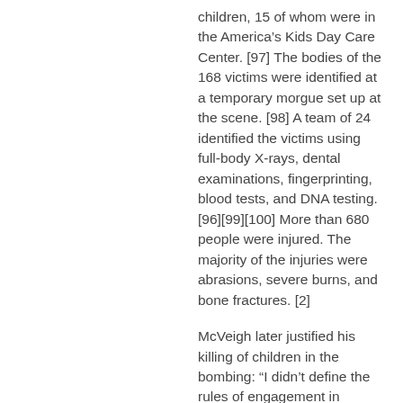children, 15 of whom were in the America’s Kids Day Care Center. [97] The bodies of the 168 victims were identified at a temporary morgue set up at the scene. [98] A team of 24 identified the victims using full-body X-rays, dental examinations, fingerprinting, blood tests, and DNA testing. [96][99][100] More than 680 people were injured. The majority of the injuries were abrasions, severe burns, and bone fractures. [2]
McVeigh later justified his killing of children in the bombing: “I didn’t define the rules of engagement in